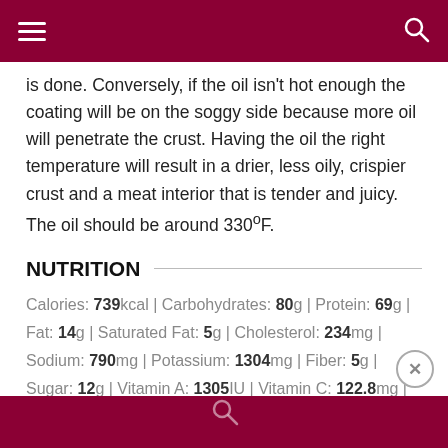is done. Conversely, if the oil isn't hot enough the coating will be on the soggy side because more oil will penetrate the crust. Having the oil the right temperature will result in a drier, less oily, crispier crust and a meat interior that is tender and juicy. The oil should be around 330ºF.
NUTRITION
Calories: 739kcal | Carbohydrates: 80g | Protein: 69g | Fat: 14g | Saturated Fat: 5g | Cholesterol: 234mg | Sodium: 790mg | Potassium: 1304mg | Fiber: 5g | Sugar: 12g | Vitamin A: 1305IU | Vitamin C: 122.8mg | Calcium: 737mg | Iron: 6.9mg